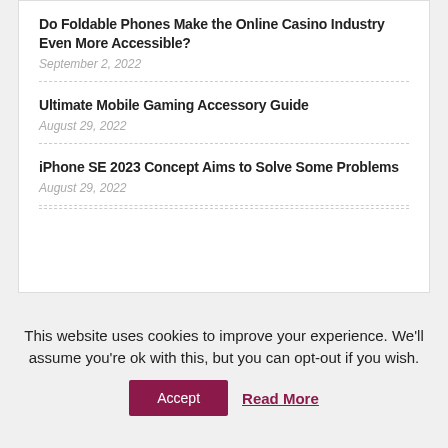Do Foldable Phones Make the Online Casino Industry Even More Accessible?
September 2, 2022
Ultimate Mobile Gaming Accessory Guide
August 29, 2022
iPhone SE 2023 Concept Aims to Solve Some Problems
August 29, 2022
This website uses cookies to improve your experience. We'll assume you're ok with this, but you can opt-out if you wish.
Accept
Read More